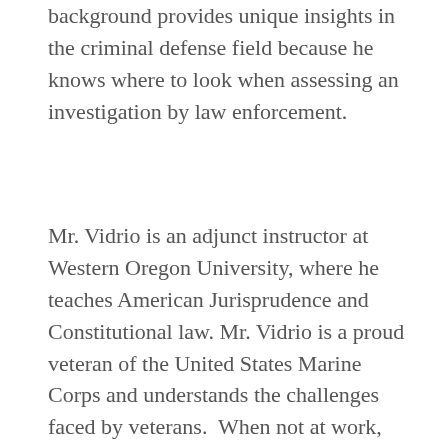background provides unique insights in the criminal defense field because he knows where to look when assessing an investigation by law enforcement.
Mr. Vidrio is an adjunct instructor at Western Oregon University, where he teaches American Jurisprudence and Constitutional law. Mr. Vidrio is a proud veteran of the United States Marine Corps and understands the challenges faced by veterans.  When not at work, Julio enjoys spending time